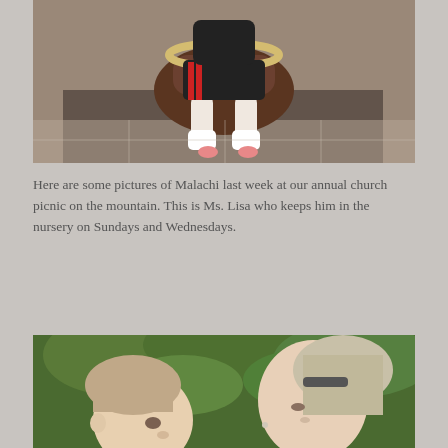[Figure (photo): A child sitting on a brown rocking horse or toy animal, wearing black shorts with red stripes and white socks, viewed from above on a tiled floor with a dark rug nearby.]
Here are some pictures of Malachi last week at our annual church picnic on the mountain. This is Ms. Lisa who keeps him in the nursery on Sundays and Wednesdays.
[Figure (photo): A young child and an older woman with gray-streaked blonde hair facing each other closely, surrounded by green foliage in the background.]